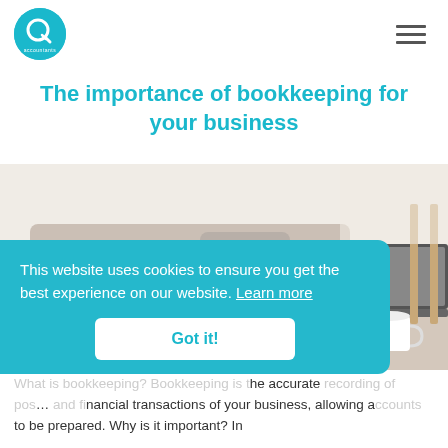Q accountants logo and hamburger menu
The importance of bookkeeping for your business
[Figure (photo): Person in pink cardigan sitting on a sofa, writing in a notebook with a laptop open on the table beside them, suggesting home bookkeeping or accounting work.]
This website uses cookies to ensure you get the best experience on our website. Learn more
Got it!
What is bookkeeping? Bookkeeping is the accurate recording of pos... and financial transactions of your business, allowing accounts to be prepared. Why is it important? In